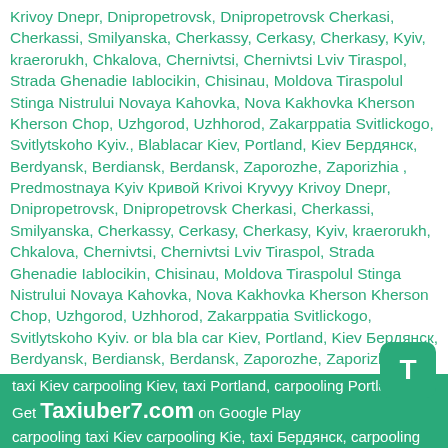Krivoy Dnepr, Dnipropetrovsk, Dnipropetrovsk Cherkasi, Cherkassi, Smilyanska, Cherkassy, Cerkasy, Cherkasy, Kyiv, kraerorukh, Chkalova, Chernivtsi, Chernivtsi Lviv Tiraspol, Strada Ghenadie Iablocikin, Chisinau, Moldova Tiraspolul Stinga Nistrului Novaya Kahovka, Nova Kakhovka Kherson Kherson Chop, Uzhgorod, Uzhhorod, Zakarppatia Svitlickogo, Svitlytskoho Kyiv., Blablacar Kiev, Portland, Kiev Бердянск, Berdyansk, Berdiansk, Berdansk, Zaporozhe, Zaporizhia , Predmostnaya Kyiv Кривой Krivoi Kryvyy Krivoy Dnepr, Dnipropetrovsk, Dnipropetrovsk Cherkasi, Cherkassi, Smilyanska, Cherkassy, Cerkasy, Cherkasy, Kyiv, kraerorukh, Chkalova, Chernivtsi, Chernivtsi Lviv Tiraspol, Strada Ghenadie Iablocikin, Chisinau, Moldova Tiraspolul Stinga Nistrului Novaya Kahovka, Nova Kakhovka Kherson Kherson Chop, Uzhgorod, Uzhhorod, Zakarppatia Svitlickogo, Svitlytskoho Kyiv. or bla bla car Kiev, Portland, Kiev Бердянск, Berdyansk, Berdiansk, Berdansk, Zaporozhe, Zaporizhia , Predmostnaya Kyiv Кривой Krivoi Kryvyy Krivoy Dnepr, Dnipropetrovsk, Dnipropetrovsk Cherkasi, Cherkassi, Smilyanska, Cherkassy, Cerkasy, Cherkasy, Kyiv, kraerorukh, Chkalova, Chernivtsi, Chernivtsi Lviv Tiraspol, Strada Ghenadie Iablocikin, Chisinau, Moldova Tiraspolul Stinga Nistrului Novaya Kahovka, Nova Kakhovka Kherson Kherson Chop, Uzhgorod, Uzhhorod, Zakarppatia Svitlickogo, Svitlytskoho Kyiv.
taxi Kiev carpooling Kiev, taxi Portland, carpooling Portland, taxi carpooling taxi Kiev carpooling Kie, taxi Бердянск, carpooling